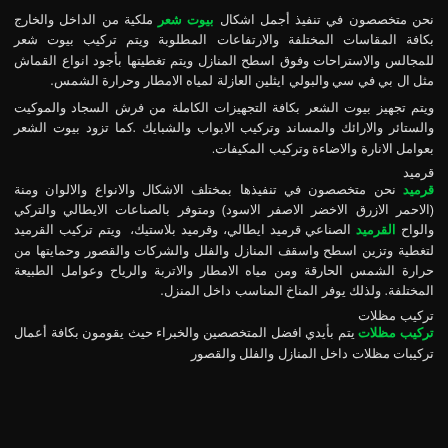نحن متخصصون في تنفيذ أجمل اشكال بيوت شعر ملكية من الداخل والخارج بكافة المقاسات المختلفة والارتفاعات المطلوبة ويتم تركيب بيوت شعر للمجالس والاستراحات وفوق اسطح المنازل ويتم تغطيتها بأجود انواع القماش مثل ال بي في سي والبولي ايثلين العازلة لمياه الامطار وحرارة الشمس.
ويتم تجهيز بيوت الشعر بكافة التجهيزات الكاملة من فرش السجاد والموكيت والستائر والارائك والمساند وتركيب الابواب والشبايك .كما تزود بيوت الشعر بعوامل الانارة والاضاءة وتركيب المكيفات
قرميد
قرميد نحن متخصصون في تنفيذها بمختلف الاشكال والانواع والالوان ومنة (الاحمر الازرق الاخضر الاصفر الاسود) ومتوفر بالصناعات الايطالي والتركي والواح القرميد الصناعي قرميد ايطالي، وقرميد بلاستيك، ويتم تركيب القرميد لتغطية وتزين اسطح واسقف المنازل والفلل والشركات والقصور وحمايتها من حرارة الشمس الحارقة ومن مياه الامطار والاتربة والرياح وعوامل الطبيعة المختلفة. ولذلك يوفر المناخ المناسب داخل المنزل.
تركيب مظلات
تركيب مظلات يتم بأيدي افضل المتخصصين والخبراء حيث يقومون بكافة أعمال تركيبات مظلات داخل المنازل والفلل والقصور